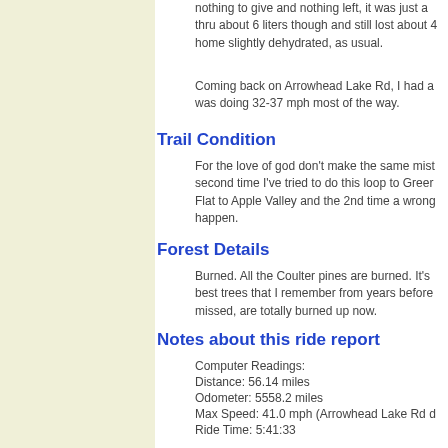nothing to give and nothing left, it was just a thru about 6 liters though and still lost about 4 home slightly dehydrated, as usual.
Coming back on Arrowhead Lake Rd, I had a was doing 32-37 mph most of the way.
Trail Condition
For the love of god don't make the same mist second time I've tried to do this loop to Greer Flat to Apple Valley and the 2nd time a wrong happen.
Forest Details
Burned. All the Coulter pines are burned. It's best trees that I remember from years before missed, are totally burned up now.
Notes about this ride report
Computer Readings:
Distance: 56.14 miles
Odometer: 5558.2 miles
Max Speed: 41.0 mph (Arrowhead Lake Rd d
Ride Time: 5:41:33
Average Speed: 9.8 mph
Start Time: 8:30am
End Time:3:30pm
Pictures
[Figure (photo): Small image thumbnail at bottom of page]